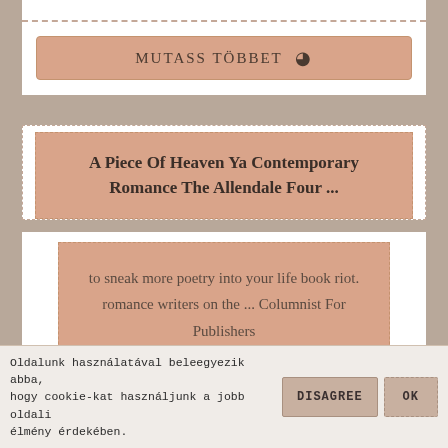[Figure (screenshot): Top dashed strip of a white card with dotted border]
MUTASS TÖBBET 👁
A Piece Of Heaven Ya Contemporary Romance The Allendale Four ...
to sneak more poetry into your life book riot. romance writers on the ... Columnist For Publishers Weekly'heaven and earth nora roberts 9780515132021.
MUTASS TÖBBET 👁
Oldalunk használatával beleegyezik abba, hogy cookie-kat használjunk a jobb oldali élmény érdekében.
DISAGREE
OK